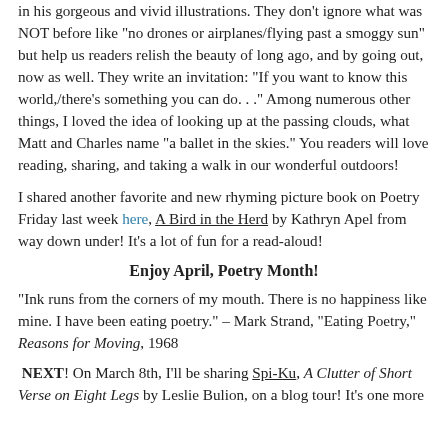in his gorgeous and vivid illustrations. They don't ignore what was NOT before like "no drones or airplanes/flying past a smoggy sun" but help us readers relish the beauty of long ago, and by going out, now as well. They write an invitation: "If you want to know this world,/there's something you can do. . ." Among numerous other things, I loved the idea of looking up at the passing clouds, what Matt and Charles name "a ballet in the skies." You readers will love reading, sharing, and taking a walk in our wonderful outdoors!
I shared another favorite and new rhyming picture book on Poetry Friday last week here, A Bird in the Herd by Kathryn Apel from way down under! It's a lot of fun for a read-aloud!
Enjoy April, Poetry Month!
"Ink runs from the corners of my mouth. There is no happiness like mine. I have been eating poetry." – Mark Strand, "Eating Poetry," Reasons for Moving, 1968
NEXT! On March 8th, I'll be sharing Spi-Ku, A Clutter of Short Verse on Eight Legs by Leslie Bulion, on a blog tour! It's one more